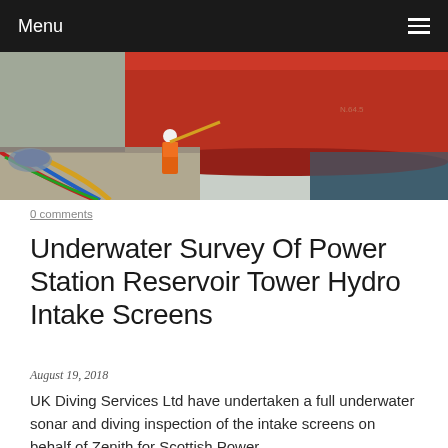Menu
[Figure (photo): Worker in orange hi-vis vest and white hard hat standing near a large red ship hull moored at a dock, with colorful ropes visible on the left and water on the right.]
0 comments
Underwater Survey Of Power Station Reservoir Tower Hydro Intake Screens
August 19, 2018
UK Diving Services Ltd have undertaken a full underwater sonar and diving inspection of the intake screens on behalf of Zenith for Scottish Power. The intake screens  and forebay were at 12m depth and clear of debris. NDT inspection of the steel work was